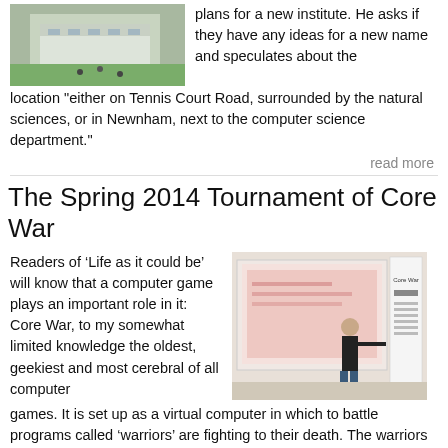[Figure (photo): Aerial or elevated view of a building with green lawn and people walking outside]
plans for a new institute. He asks if they have any ideas for a new name and speculates about the location “either on Tennis Court Road, surrounded by the natural sciences, or in Newnham, next to the computer science department.”
read more
The Spring 2014 Tournament of Core War
Readers of ‘Life as it could be’ will know that a computer game plays an important role in it: Core War, to my somewhat limited knowledge the oldest, geekiest and most cerebral of all computer games. It is set up as a virtual computer in which to battle programs called ‘warriors’ are fighting to their death. The warriors are short programs written in a special purpose assembly language called Redcode. What makes the game so
[Figure (photo): Person standing next to a large display screen showing Core War, with a banner reading Core War]